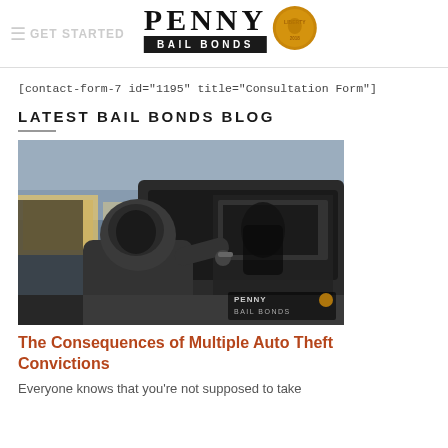PENNY BAIL BONDS
[contact-form-7 id="1195" title="Consultation Form"]
LATEST BAIL BONDS BLOG
[Figure (photo): A hooded person breaking into a car door with a tool, with Penny Bail Bonds watermark overlay in the bottom right corner.]
The Consequences of Multiple Auto Theft Convictions
Everyone knows that you're not supposed to take